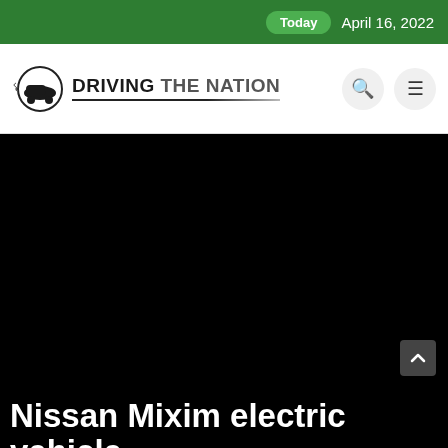Today   April 16, 2022
[Figure (logo): Driving The Nation logo with car icon]
[Figure (photo): Large black hero image area (photograph not rendered)]
Nissan Mixim electric vehicle